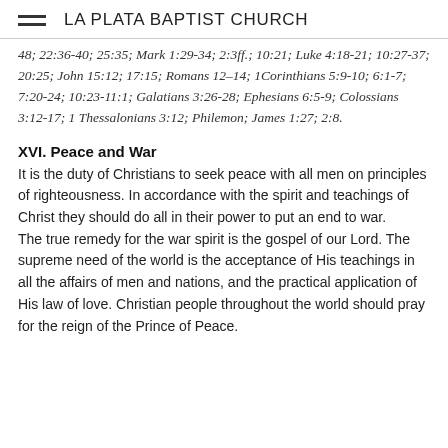LA PLATA BAPTIST CHURCH
48; 22:36-40; 25:35; Mark 1:29-34; 2:3ff.; 10:21; Luke 4:18-21; 10:27-37; 20:25; John 15:12; 17:15; Romans 12–14; 1Corinthians 5:9-10; 6:1-7; 7:20-24; 10:23-11:1; Galatians 3:26-28; Ephesians 6:5-9; Colossians 3:12-17; 1 Thessalonians 3:12; Philemon; James 1:27; 2:8.
XVI. Peace and War
It is the duty of Christians to seek peace with all men on principles of righteousness. In accordance with the spirit and teachings of Christ they should do all in their power to put an end to war.
The true remedy for the war spirit is the gospel of our Lord. The supreme need of the world is the acceptance of His teachings in all the affairs of men and nations, and the practical application of His law of love. Christian people throughout the world should pray for the reign of the Prince of Peace.